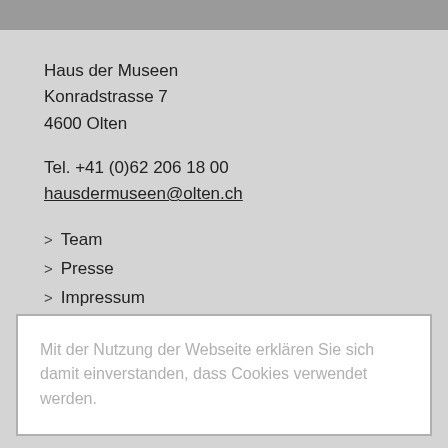Haus der Museen
Konradstrasse 7
4600 Olten
Tel. +41 (0)62 206 18 00
hausdermuseen@olten.ch
> Team
> Presse
> Impressum
> Datenschutz
Mit der Nutzung der Webseite erklären Sie sich damit einverstanden, dass Cookies verwendet werden.